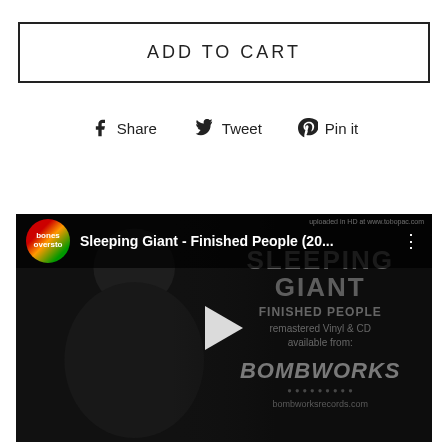ADD TO CART
Share  Tweet  Pin it
[Figure (screenshot): YouTube video thumbnail for 'Sleeping Giant - Finished People (20...' showing a dark image of a tattooed person on the left, with channel logo, video title bar at top, and text on right reading SLEEPING GIANT / FINISHED PEOPLE / remastered Vinyl & CD / available from: / BOMBWORKS / bombworksrecords.com. A play button triangle is centered on the video.]